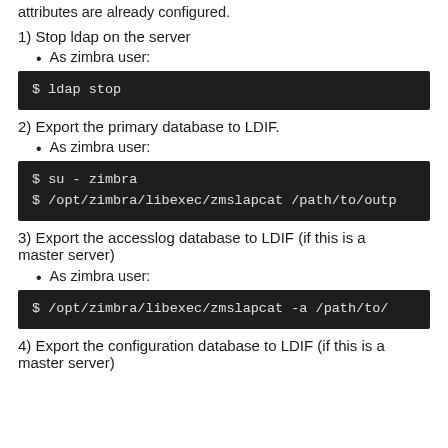attributes are already configured.
1) Stop ldap on the server
As zimbra user:
$ ldap stop
2) Export the primary database to LDIF.
As zimbra user:
$ su - zimbra
$ /opt/zimbra/libexec/zmslapcat /path/to/outp
3) Export the accesslog database to LDIF (if this is a master server)
As zimbra user:
$ /opt/zimbra/libexec/zmslapcat -a /path/to/
4) Export the configuration database to LDIF (if this is a master server)